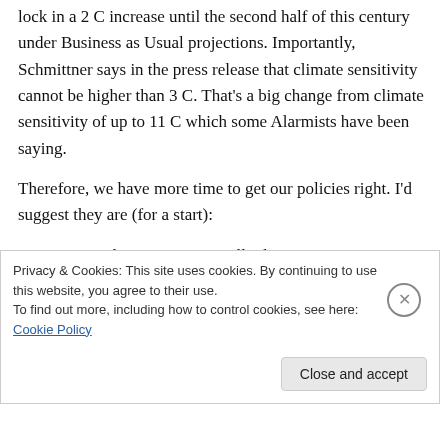lock in a 2 C increase until the second half of this century under Business as Usual projections. Importantly, Schmittner says in the press release that climate sensitivity cannot be higher than 3 C. That's a big change from climate sensitivity of up to 11 C which some Alarmists have been saying.
Therefore, we have more time to get our policies right. I'd suggest they are (for a start):
1. Do not implement economically damaging
Privacy & Cookies: This site uses cookies. By continuing to use this website, you agree to their use.
To find out more, including how to control cookies, see here: Cookie Policy
Close and accept